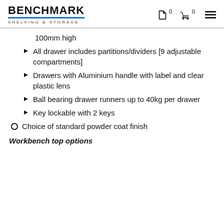BENCHMARK SHELVING & STORAGE
100mm high
All drawer includes partitions/dividers [9 adjustable compartments]
Drawers with Aluminium handle with label and clear plastic lens
Ball bearing drawer runners up to 40kg per drawer
Key lockable with 2 keys
Choice of standard powder coat finish
Workbench top options